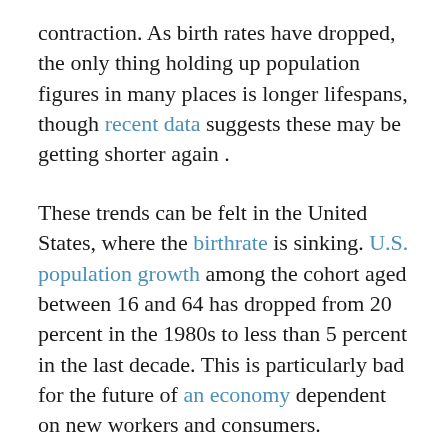contraction. As birth rates have dropped, the only thing holding up population figures in many places is longer lifespans, though recent data suggests these may be getting shorter again .
These trends can be felt in the United States, where the birthrate is sinking. U.S. population growth among the cohort aged between 16 and 64 has dropped from 20 percent in the 1980s to less than 5 percent in the last decade. This is particularly bad for the future of an economy dependent on new workers and consumers.
This demographic transition is even more